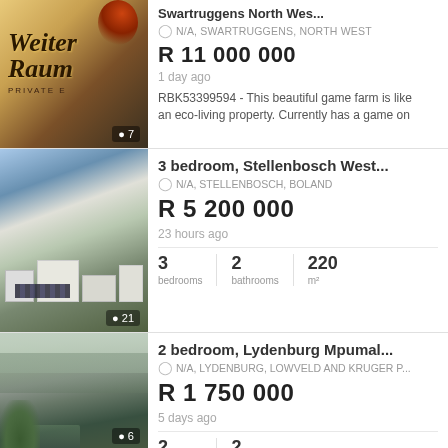[Figure (photo): Warm golden sunset scene with Weiter Raum Private Estate logo/signage]
Swartruggens North Wes...
N/A, SWARTRUGGENS, NORTH WEST
R 11 000 000
1 day ago
RBK53399594 - This beautiful game farm is like an eco-living property. Currently has a game on
[Figure (photo): Aerial view of white buildings with solar panels surrounded by trees in Stellenbosch]
3 bedroom, Stellenbosch West...
N/A, STELLENBOSCH, BOLAND
R 5 200 000
23 hours ago
3 bedrooms | 2 bathrooms | 220 m²
[Figure (photo): Misty mountain valley landscape in Lydenburg, Mpumalanga]
2 bedroom, Lydenburg Mpumal...
N/A, LYDENBURG, LOWVELD AND KRUGER P...
R 1 750 000
5 days ago
2 bedrooms | 2 bathrooms